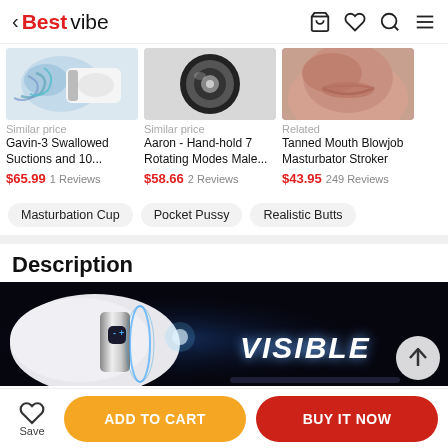< Bestvibe [shopping icons]
[Figure (photo): Product image of Gavin-3 Swallowed Suctions masturbation cup, partial view]
Similar price
Gavin-3 Swallowed Suctions and 10...
$65.99  1 Reviews
[Figure (photo): Product image of Aaron Hand-hold rotating male masturbator, overhead view]
Similar price
Aaron - Hand-hold 7 Rotating Modes Male...
$58.66  2 Reviews
[Figure (photo): Product image of Tanned Mouth Blowjob Masturbator Stroker, partial view]
Related
Tanned Mouth Blowjob Masturbator Stroker
$43.95  249 Reviews
Masturbation Cup
Pocket Pussy
Realistic Butts
Description
[Figure (photo): Product banner image on dark background showing masturbation cup device with blue glow lights and text VISIBLE with up arrow button]
Save
ADD TO CART
BUY IT NOW